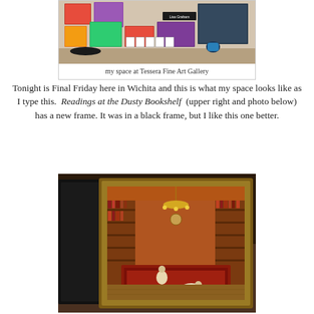[Figure (photo): Photo of an art gallery wall display showing multiple framed paintings and artworks arranged on a wall above a dark console table, with a name tag reading 'Lisa Graham']
my space at Tessera Fine Art Gallery
Tonight is Final Friday here in Wichita and this is what my space looks like as I type this.  Readings at the Dusty Bookshelf  (upper right and photo below) has a new frame.  It was in a black frame, but I like this one better.
[Figure (photo): Photo of a framed painting leaning against a dark frame. The painting depicts the interior of a bookshop (Dusty Bookshelf) with floor-to-ceiling bookshelves filled with red/orange books, a chandelier, and two children on a patterned rug on the floor. The painting is in a warm golden-brown ornate frame.]